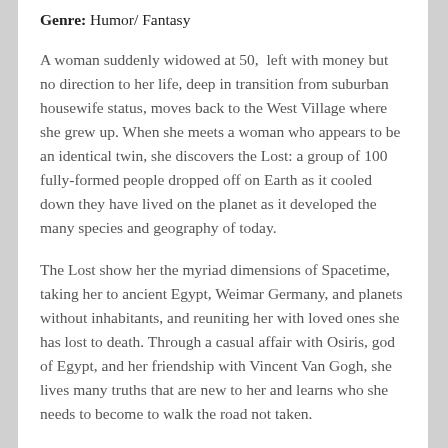Genre: Humor/ Fantasy
A woman suddenly widowed at 50,  left with money but no direction to her life, deep in transition from suburban housewife status, moves back to the West Village where she grew up. When she meets a woman who appears to be an identical twin, she discovers the Lost: a group of 100 fully-formed people dropped off on Earth as it cooled down they have lived on the planet as it developed the many species and geography of today.
The Lost show her the myriad dimensions of Spacetime, taking her to ancient Egypt, Weimar Germany, and planets without inhabitants, and reuniting her with loved ones she has lost to death. Through a casual affair with Osiris, god of Egypt, and her friendship with Vincent Van Gogh, she lives many truths that are new to her and learns who she needs to become to walk the road not taken.